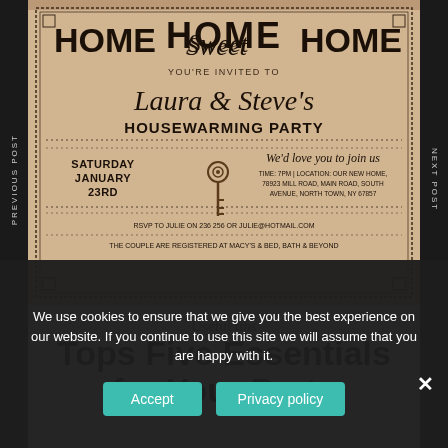[Figure (illustration): A vintage housewarming party invitation card on aged paper background. Text reads 'HOME Sweet HOME', 'YOU'RE INVITED TO', 'Laura & Steve's', 'HOUSEWARMING PARTY', 'SATURDAY JANUARY 23RD', 'We'd love you to join us', 'TIME: 7PM | LOCATION: OUR NEW HOME, 78923 MILL ROAD, MAIN ROAD, SOUTH AVENUE, NORTH TOWN, NY 67857', 'RSVP TO JULIE ON 236 256 OR JULIE@HOTMAIL.COM', 'THE COUPLE ARE REGISTERED AT MACY'S & BED, BATH & BEYOND'. Decorative key illustration in center. Flanked by 'PREVIOUS POST' on left and 'NEXT POST' on right in vertical text on dark background.]
Useful tips
Tops Five Essentials for Your Party
We use cookies to ensure that we give you the best experience on our website. If you continue to use this site we will assume that you are happy with it.